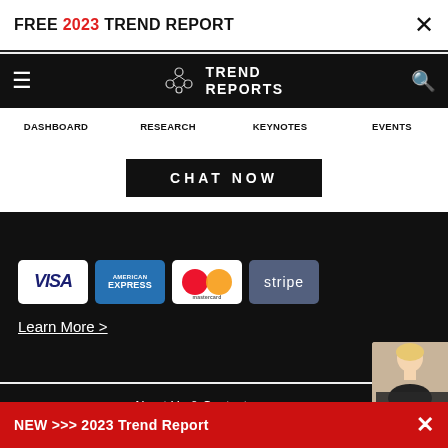FREE 2023 TREND REPORT ×
[Figure (logo): Trend Reports logo with interconnected circles and text TREND REPORTS on black navigation bar]
DASHBOARD  RESEARCH  KEYNOTES  EVENTS
CHAT NOW
[Figure (infographic): Payment method logos: VISA, American Express, mastercard, stripe on black background]
Learn More >
About Us & Contact
Innovation Keynote Speaker
NEW >>> 2023 Trend Report ×